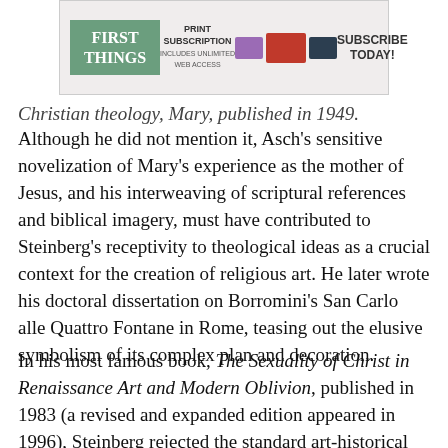[Figure (other): First Things magazine subscription advertisement banner with green logo, print subscription text, device images, and Subscribe Today call to action]
Christian theology, Mary, published in 1949.
Although he did not mention it, Asch's sensitive novelization of Mary's experience as the mother of Jesus, and his interweaving of scriptural references and biblical imagery, must have contributed to Steinberg's receptivity to theological ideas as a crucial context for the creation of religious art. He later wrote his doctoral dissertation on Borromini's San Carlo alle Quattro Fontane in Rome, teasing out the elusive symbolism of its complex plan and decoration.
In his most famous book, The Sexuality of Christ in Renaissance Art and Modern Oblivion, published in 1983 (a revised and expanded edition appeared in 1996), Steinberg rejected the standard art-historical